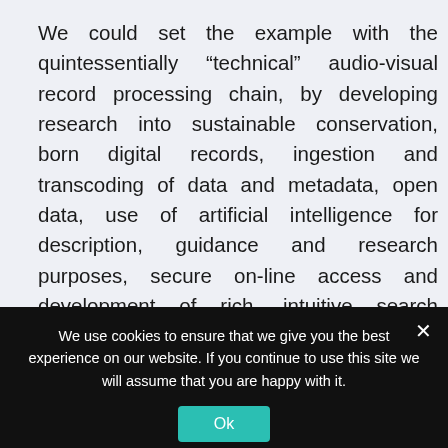We could set the example with the quintessentially “technical” audio-visual record processing chain, by developing research into sustainable conservation, born digital records, ingestion and transcoding of data and metadata, open data, use of artificial intelligence for description, guidance and research purposes, secure on-line access and development of rich, intuitive search interfaces, extension of archiving practices to internet and social networks, new information and knowledge dissemination
We use cookies to ensure that we give you the best experience on our website. If you continue to use this site we will assume that you are happy with it.